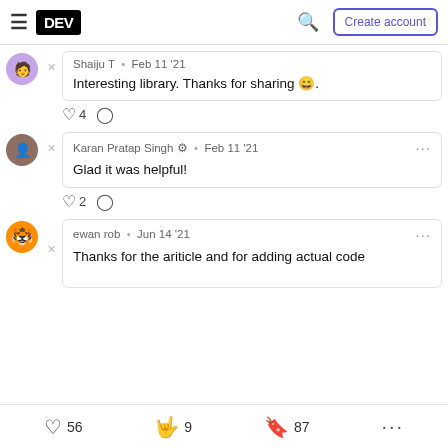DEV — Create account
Shaiju T • Feb 11 '21
Interesting library. Thanks for sharing 😄.
♡ 4  ○
Karan Pratap Singh 🔵 • Feb 11 '21
Glad it was helpful!
♡ 2  ○
ewan rob • Jun 14 '21
Thanks for the ariticle and for adding actual code
♡ 56   🤟 9   🔖 87   ...